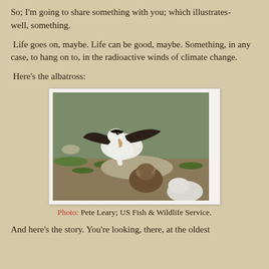So; I'm going to share something with you; which illustrates- well, something.
Life goes on, maybe. Life can be good, maybe. Something, in any case, to hang on to, in the radioactive winds of climate change.
Here's the albatross:
[Figure (photo): An albatross parent leaning down toward fluffy chicks on the ground, surrounded by green grass and sandy soil.]
Photo: Pete Leary; US Fish & Wildlife Service.
And here's the story. You're looking, there, at the oldest